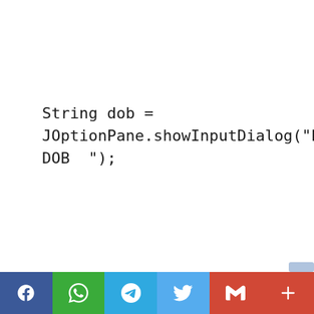String dob =
JOptionPane.showInputDialog("Enter DOB  ");
[Figure (screenshot): Social sharing bar at the bottom with icons for Facebook, WhatsApp, Telegram, Twitter, Gmail, and a plus button]